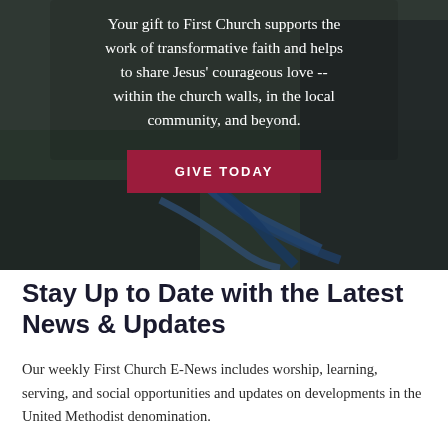[Figure (photo): Dark-toned outdoor photo of people playing or doing an activity with blue ropes/straps on grass, overlaid with a semi-transparent dark layer. White centered text reads the church giving message. A dark red 'GIVE TODAY' button is centered below the text.]
Your gift to First Church supports the work of transformative faith and helps to share Jesus' courageous love -- within the church walls, in the local community, and beyond.
Stay Up to Date with the Latest News & Updates
Our weekly First Church E-News includes worship, learning, serving, and social opportunities and updates on developments in the United Methodist denomination.